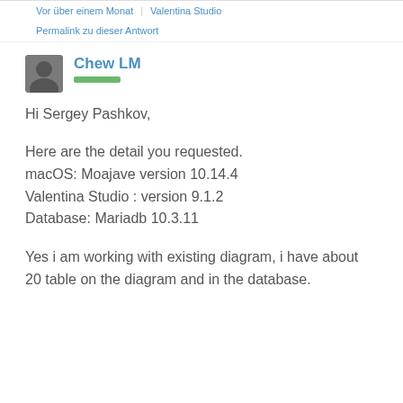Vor über einem Monat | Valentina Studio
Permalink zu dieser Antwort
Chew LM
Hi Sergey Pashkov,
Here are the detail you requested.
macOS: Moajave version 10.14.4
Valentina Studio : version 9.1.2
Database: Mariadb 10.3.11
Yes i am working with existing diagram, i have about 20 table on the diagram and in the database.